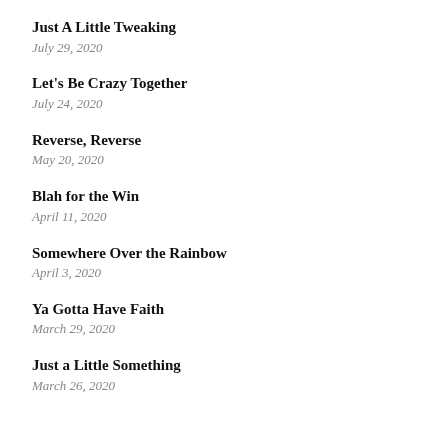Just A Little Tweaking
July 29, 2020
Let's Be Crazy Together
July 24, 2020
Reverse, Reverse
May 20, 2020
Blah for the Win
April 11, 2020
Somewhere Over the Rainbow
April 3, 2020
Ya Gotta Have Faith
March 29, 2020
Just a Little Something
March 26, 2020